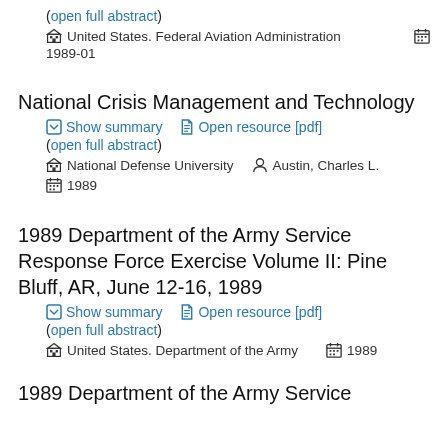(open full abstract)
🏛 United States. Federal Aviation Administration   📅 1989-01
National Crisis Management and Technology
▾ Show summary   📄 Open resource [pdf]
(open full abstract)
🏛 National Defense University   👤 Austin, Charles L.
📅 1989
1989 Department of the Army Service Response Force Exercise Volume II: Pine Bluff, AR, June 12-16, 1989
▾ Show summary   📄 Open resource [pdf]
(open full abstract)
🏛 United States. Department of the Army   📅 1989
1989 Department of the Army Service...